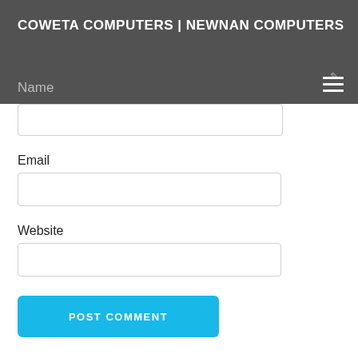COWETA COMPUTERS | NEWNAN COMPUTERS
Name
Email
Website
POST COMMENT
HOME
BLOGS
CONTACT US